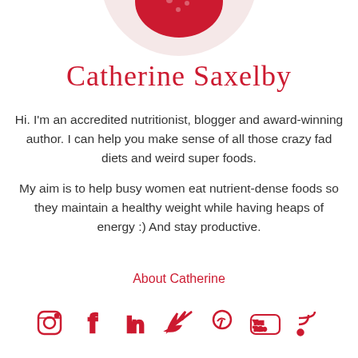[Figure (photo): Circular cropped photo of Catherine Saxelby, partially visible at top of page, showing a woman in a floral red dress]
Catherine Saxelby
Hi. I'm an accredited nutritionist, blogger and award-winning author. I can help you make sense of all those crazy fad diets and weird super foods.
My aim is to help busy women eat nutrient-dense foods so they maintain a healthy weight while having heaps of energy :) And stay productive.
About Catherine
[Figure (infographic): Row of 7 social media icons in red: Instagram, Facebook, LinkedIn, Twitter, Pinterest, YouTube, RSS feed]